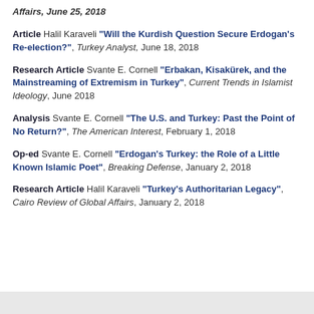Affairs, June 25, 2018
Article Halil Karaveli "Will the Kurdish Question Secure Erdogan's Re-election?", Turkey Analyst, June 18, 2018
Research Article Svante E. Cornell "Erbakan, Kisakürek, and the Mainstreaming of Extremism in Turkey", Current Trends in Islamist Ideology, June 2018
Analysis Svante E. Cornell "The U.S. and Turkey: Past the Point of No Return?", The American Interest, February 1, 2018
Op-ed Svante E. Cornell "Erdogan's Turkey: the Role of a Little Known Islamic Poet", Breaking Defense, January 2, 2018
Research Article Halil Karaveli "Turkey's Authoritarian Legacy", Cairo Review of Global Affairs, January 2, 2018